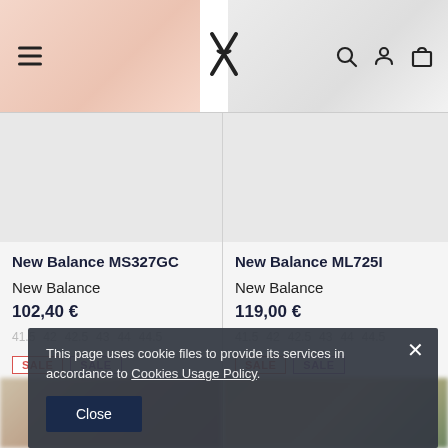[Figure (screenshot): E-commerce website navigation bar with hamburger menu, logo, search, account, and bag icons. Background shows blurred sneaker images.]
New Balance MS327GC
New Balance
102,40 €
41.5  42  42.5  43  44  44.5
SALE  SALE
New Balance ML725I
New Balance
119,00 €
41.5  42  42.5  43  44  44.5
SALE  SALE
This page uses cookie files to provide its services in accordance to Cookies Usage Policy.
Close